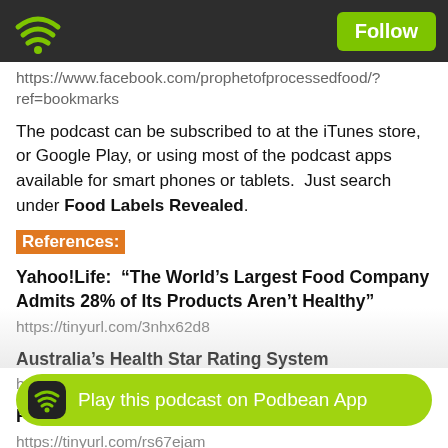Follow
https://www.facebook.com/prophetofprocessedfood/?ref=bookmarks
The podcast can be subscribed to at the iTunes store, or Google Play, or using most of the podcast apps available for smart phones or tablets.  Just search under Food Labels Revealed.
References:
Yahoo!Life:  “The World’s Largest Food Company Admits 28% of Its Products Aren’t Healthy”
https://tinyurl.com/3nhx62d8
Australia’s Health Star Rating System
https://tinyurl.com/4jptcyd2
France’s Nutri-Score Rating System
https://tinyurl.com/rs67ejam
Pharmacy Times: “Added Sugars May Contribute to Liver Disease in...
https://tinyurl.com/5ddaqnmb
Play this podcast on Podbean App